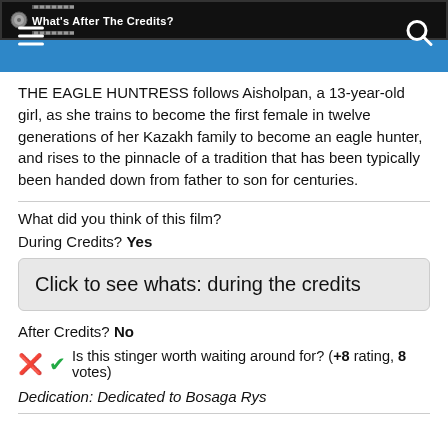What's After The Credits?
THE EAGLE HUNTRESS follows Aisholpan, a 13-year-old girl, as she trains to become the first female in twelve generations of her Kazakh family to become an eagle hunter, and rises to the pinnacle of a tradition that has been typically been handed down from father to son for centuries.
What did you think of this film?
During Credits? Yes
Click to see whats: during the credits
After Credits? No
Is this stinger worth waiting around for? (+8 rating, 8 votes)
Dedication: Dedicated to Bosaga Rys